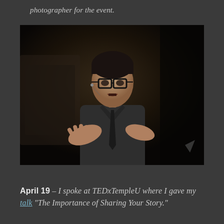photographer for the event.
[Figure (photo): A man with glasses wearing a dark shirt and tie speaks on stage, gesturing with his hands, with a dark background suggesting a conference or event setting.]
April 19 – I spoke at TEDxTempleU where I gave my talk 'The Importance of Sharing Your Story.'